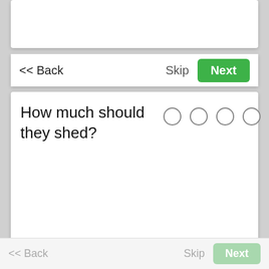[Figure (screenshot): Top white card area (blank content area above navigation)]
<< Back
Skip
Next
How much should they shed?
[Figure (other): Five empty radio button circles for rating scale]
<< Back
Skip
Next